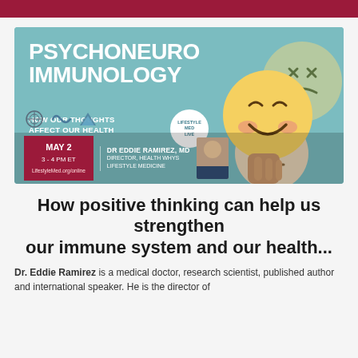[Figure (infographic): Event promotional banner for 'Psychoneuroimmunology: How Our Thoughts Affect Our Health' featuring a Lifestyle MED LIVE badge, date May 2, 3-4 PM ET at LifestyleMed.org/online, speaker Dr Eddie Ramirez MD, Director Health Whys Lifestyle Medicine, with emoji face illustrations on a teal background.]
How positive thinking can help us strengthen our immune system and our health...
Dr. Eddie Ramirez is a medical doctor, research scientist, published author and international speaker. He is the director of